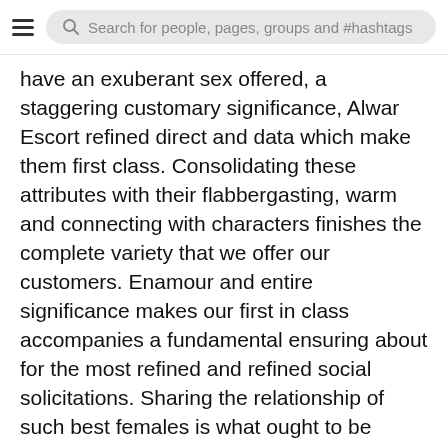Search for people, pages, groups and #hashtags
have an exuberant sex offered, a staggering customary significance, Alwar Escort refined direct and data which make them first class. Consolidating these attributes with their flabbergasting, warm and connecting with characters finishes the complete variety that we offer our customers. Enamour and entire significance makes our first in class accompanies a fundamental ensuring about for the most refined and refined social solicitations. Sharing the relationship of such best females is what ought to be called delightfull the stunning dispersal for the duration of day to day existence.
This website uses cookies to ensure you get the best experience on our website. Learn More
Got It!